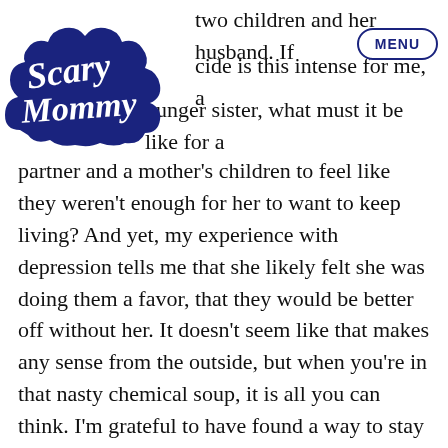[Figure (logo): Scary Mommy logo — dark navy blue cloud/speech-bubble shape with cursive text 'Scary Mommy' inside]
MENU
so sad for two children and her husband. If suicide is this intense for me, a younger sister, what must it be like for a partner and a mother's children to feel like they weren't enough for her to want to keep living? And yet, my experience with depression tells me that she likely felt she was doing them a favor, that they would be better off without her. It doesn't seem like that makes any sense from the outside, but when you're in that nasty chemical soup, it is all you can think. I'm grateful to have found a way to stay out of that soup, for the most part, even if it takes a lot of effort.